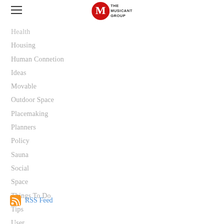The Musicant Group
Health
Housing
Human Connetion
Ideas
Movable
Outdoor Space
Placemaking
Planners
Policy
Sauna
Social
Space
Things To Do
Tips
User
RSS Feed